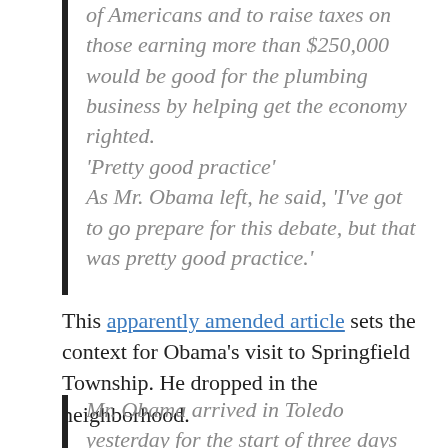of Americans and to raise taxes on those earning more than $250,000 would be good for the plumbing business by helping get the economy righted.
'Pretty good practice'
As Mr. Obama left, he said, 'I've got to go prepare for this debate, but that was pretty good practice.'
This apparently amended article sets the context for Obama's visit to Springfield Township. He dropped in the neighborhood.
Mr. Obama arrived in Toledo yesterday for the start of three days of intensive